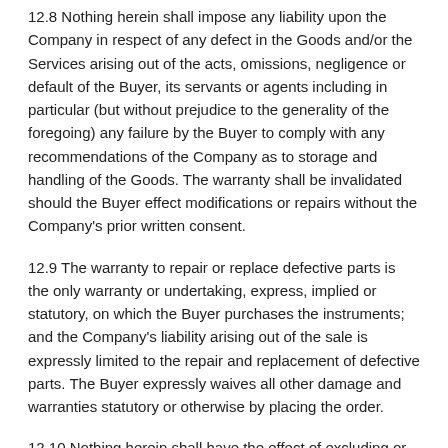12.8 Nothing herein shall impose any liability upon the Company in respect of any defect in the Goods and/or the Services arising out of the acts, omissions, negligence or default of the Buyer, its servants or agents including in particular (but without prejudice to the generality of the foregoing) any failure by the Buyer to comply with any recommendations of the Company as to storage and handling of the Goods. The warranty shall be invalidated should the Buyer effect modifications or repairs without the Company's prior written consent.
12.9 The warranty to repair or replace defective parts is the only warranty or undertaking, express, implied or statutory, on which the Buyer purchases the instruments; and the Company's liability arising out of the sale is expressly limited to the repair and replacement of defective parts. The Buyer expressly waives all other damage and warranties statutory or otherwise by placing the order.
12.10 Nothing herein shall have the effect of excluding or restricting the liability of the Company for fraudulent misrepresentation or for death or personal injury resulting from its negligence in so far as the same is prohibited by United